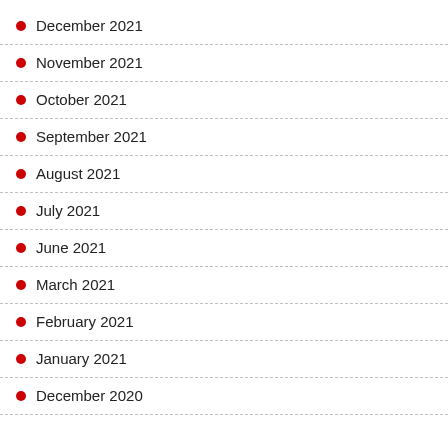December 2021
November 2021
October 2021
September 2021
August 2021
July 2021
June 2021
March 2021
February 2021
January 2021
December 2020